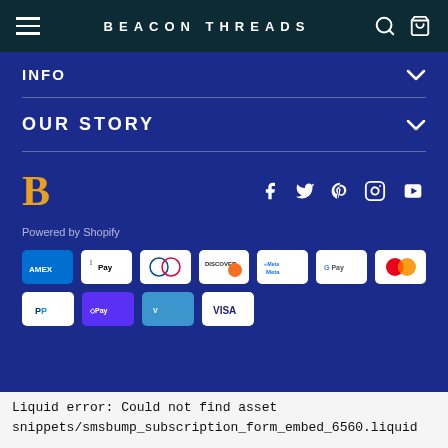BEACON THREADS
INFO
OUR STORY
[Figure (logo): Bold yellow/orange 'B' logo for Beacon Threads, with social media icons: Facebook, Twitter, Pinterest, Instagram, YouTube]
Powered by Shopify
[Figure (other): Payment method icons: American Express, Apple Pay, Diners Club, Discover, Meta Pay, Google Pay, Mastercard, PayPal, Shop Pay, Venmo, Visa]
Liquid error: Could not find asset snippets/smsbump_subscription_form_embed_6560.liquid